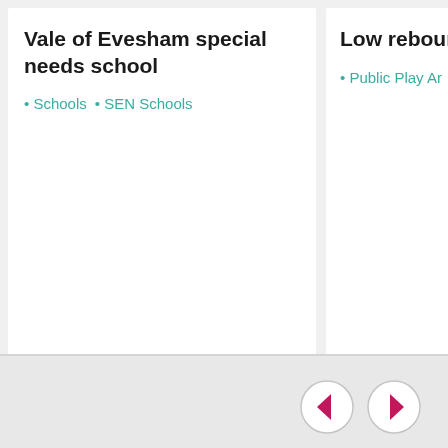Vale of Evesham special needs school
• Schools  • SEN Schools
Low rebound in trampolines in
• Public Play Ar
[Figure (other): Navigation arrow buttons: left arrow (previous) and right arrow (next), each inside a circular border with magenta/pink arrows]